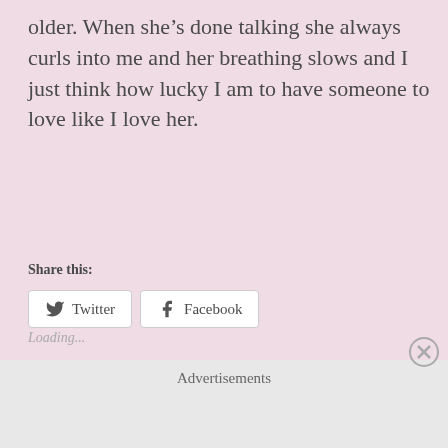older. When she’s done talking she always curls into me and her breathing slows and I just think how lucky I am to have someone to love like I love her.
Share this:
Twitter
Facebook
Loading...
Advertisements